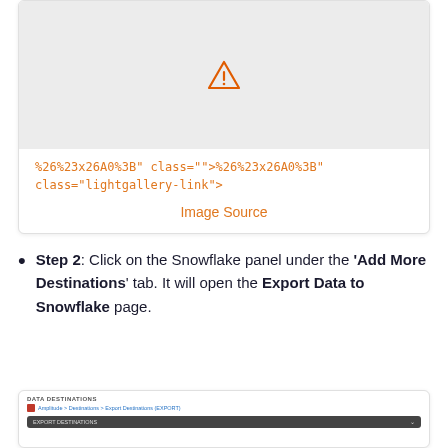[Figure (screenshot): Screenshot card showing a broken image placeholder (warning triangle icon) in a grey area, followed by orange URL-encoded code text and an 'Image Source' link in orange.]
%26%23x26A0%3B" class="">%26%23x26A0%3B" class="lightgallery-link">
Image Source
Step 2: Click on the Snowflake panel under the 'Add More Destinations' tab. It will open the Export Data to Snowflake page.
[Figure (screenshot): Partial screenshot of a Data Destinations panel showing breadcrumb navigation and an 'Export Destinations' dark bar with a dropdown indicator.]